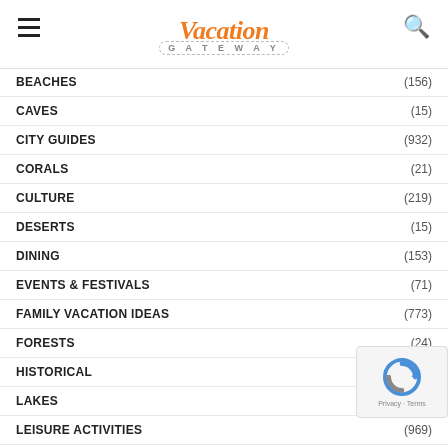Vacation Gateway
BEACHES (156)
CAVES (15)
CITY GUIDES (932)
CORALS (21)
CULTURE (219)
DESERTS (15)
DINING (153)
EVENTS & FESTIVALS (71)
FAMILY VACATION IDEAS (773)
FORESTS (24)
HISTORICAL (72)
LAKES (22)
LEISURE ACTIVITIES (969)
MOUNTAINS
NATURAL
NIGHTLIFE (118)